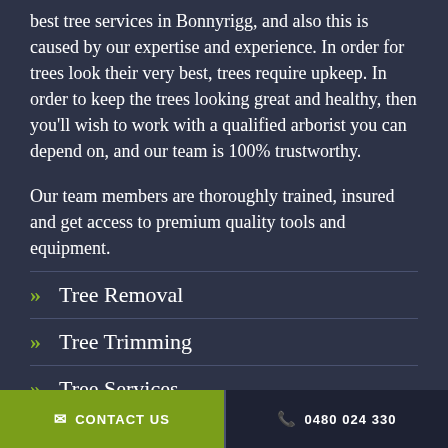best tree services in Bonnyrigg, and also this is caused by our expertise and experience. In order for trees look their very best, trees require upkeep. In order to keep the trees looking great and healthy, then you'll wish to work with a qualified arborist you can depend on, and our team is 100% trustworthy.
Our team members are thoroughly trained, insured and get access to premium quality tools and equipment.
Tree Removal
Tree Trimming
Tree Services
✉ CONTACT US   ☎ 0480 024 330